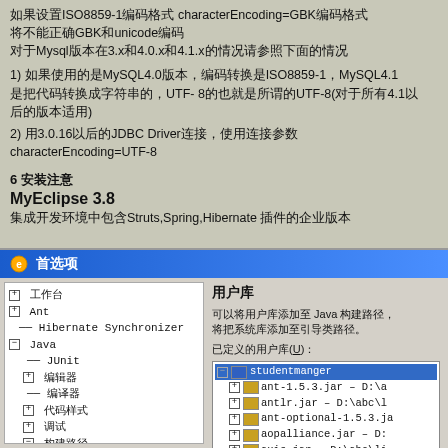如果设置ISO8859-1编码格式 characterEncoding=GBK编码格式 将不能正确GBK和unicode编码 对于Mysql版本在3.x和4.0.x和4.1.x的情况请参照下面的情况
1) 如果使用的是MySQL4.0版本，编码转换是ISO8859-1，MySQL4.1 是把代码转换成字符串的，UTF- 8的也就是所谓的UTF-8(对于所有4.1以后的版本适用)
2) 用3.0.16以后的JDBC Driver连接，使用连接参数 characterEncoding=UTF-8
6 安装注意
MyEclipse 3.8
集成开发环境中包含Struts,Spring,Hibernate 插件的企业版本
[Figure (screenshot): MyEclipse preferences dialog showing a tree panel on the left with items like 工作台, Ant, Hibernate Synchronizer, Java (with sub-items JUnit, 编辑器, 编译器, 代码样式, 调试, 构建路径 with sub-items 类路径变量, 用户库, 类型过滤器, 待处理...) and a right panel showing 用户库 (User Libraries) with text about adding user libraries to Java build path, and a list showing studentmanger library with entries ant-1.5.3.jar, antlr.jar, ant-optional-1.5.3.jar, aopalliance.jar, axis.jar, bsh-2.0b1.jar]